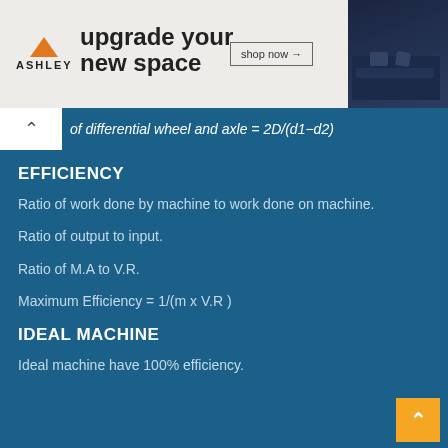[Figure (other): Ashley Furniture advertisement banner: orange triangle logo with 'ASHLEY' text, headline 'upgrade your new space', 'shop now' button, and photo of dark blue sofa with decorative pillows]
of differential wheel and axle = 2D/(d1−d2)
EFFICIENCY
Ratio of work done by machine to work done on machine.
Ratio of output to input.
Ratio of M.A to V.R.
Maximum Efficiency = 1/(m x V.R )
IDEAL MACHINE
Ideal machine have 100% efficiency.